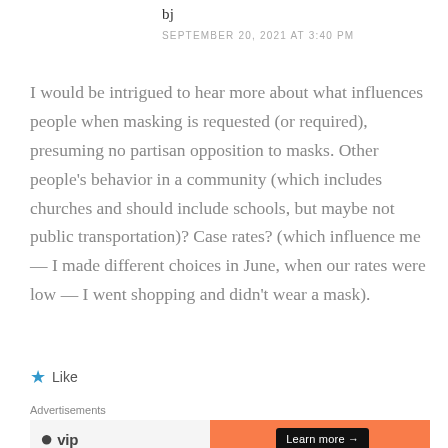bj
SEPTEMBER 20, 2021 AT 3:40 PM
I would be intrigued to hear more about what influences people when masking is requested (or required), presuming no partisan opposition to masks. Other people's behavior in a community (which includes churches and should include schools, but maybe not public transportation)? Case rates? (which influence me — I made different choices in June, when our rates were low — I went shopping and didn't wear a mask).
★ Like
Advertisements
[Figure (other): WordPress VIP advertisement banner with logo on left and Learn more button on orange right side]